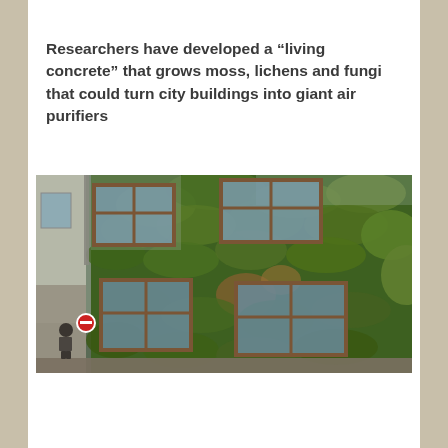Researchers have developed a “living concrete” that grows moss, lichens and fungi that could turn city buildings into giant air purifiers
[Figure (photo): Photograph of a multi-story urban building covered in a dense vertical green wall of moss, lichen, plants and foliage, with large framed windows visible. A pedestrian and a red circular road sign are visible at street level.]